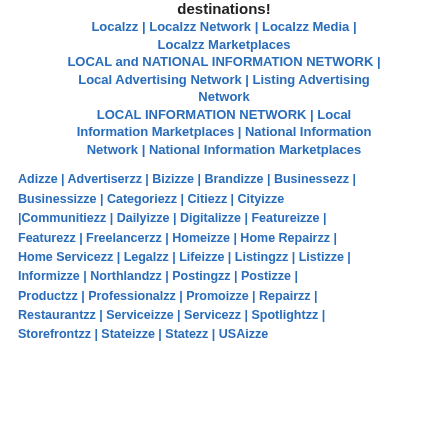destinations!
Localzz | Localzz Network | Localzz Media | Localzz Marketplaces
LOCAL and NATIONAL INFORMATION NETWORK | Local Advertising Network | Listing Advertising Network
LOCAL INFORMATION NETWORK | Local Information Marketplaces | National Information Network | National Information Marketplaces
Adizze | Advertiserzz | Bizizze | Brandizze | Businessezz | Businessizze | Categoriezz | Citiezz | Cityizze |Communitiezz | Dailyizze | Digitalizze | Featureizze | Featurezz | Freelancerzz | Homeizze | Home Repairzz | Home Servicezz | Legalzz | Lifeizze | Listingzz | Listizze | Informizze | Northlandzz | Postingzz | Postizze | Productzz | Professionalzz | Promoizze | Repairzz | Restaurantzz | Serviceizze | Servicezz | Spotlightzz | Storefrontzz | Stateizze | Statezz | USAizze